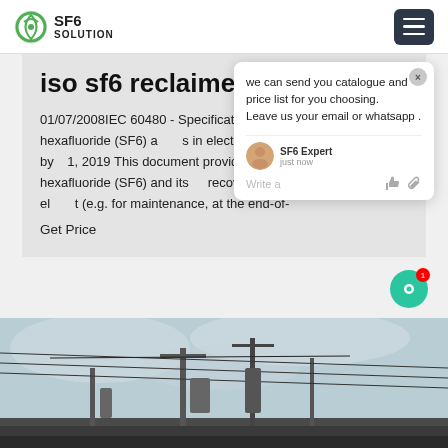SF6 SOLUTION
iso sf6 reclaimer in Kiribati
01/07/2008IEC 60480 - Specifications for the re-use of sulphur hexafluoride (SF6) and its mixtures in electrical equipment Published by 1, 2019 This document provides criteria for the re-use of sulphur hexafluoride (SF6) and its mixtures, recovery and reclaiming from electrical equipment (e.g. for maintenance, at the end-of-
Get Price
[Figure (photo): Electrical substation with power lines and equipment against a cloudy sky]